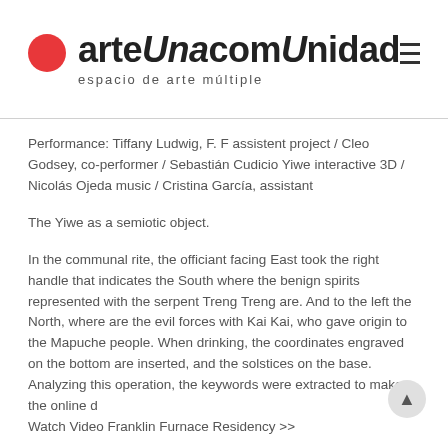arteUnacomUnidad espacio de arte múltiple
Performance: Tiffany Ludwig, F. F assistent project / Cleo Godsey, co-performer / Sebastián Cudicio Yiwe interactive 3D / Nicolás Ojeda music / Cristina García, assistant
The Yiwe as a semiotic object.
In the communal rite, the officiant facing East took the right handle that indicates the South where the benign spirits represented with the serpent Treng Treng are. And to the left the North, where are the evil forces with Kai Kai, who gave origin to the Mapuche people. When drinking, the coordinates engraved on the bottom are inserted, and the solstices on the base. Analyzing this operation, the keywords were extracted to make the online d
Watch Video Franklin Furnace Residency >>